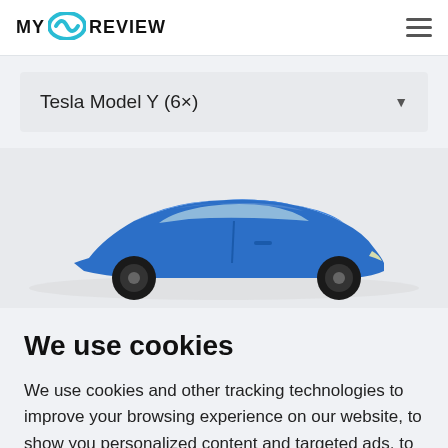MY EV REVIEW
Tesla Model Y (6×)
[Figure (photo): Side profile of a blue Tesla Model Y electric vehicle]
We use cookies
We use cookies and other tracking technologies to improve your browsing experience on our website, to show you personalized content and targeted ads, to analyze our website traffic, and to